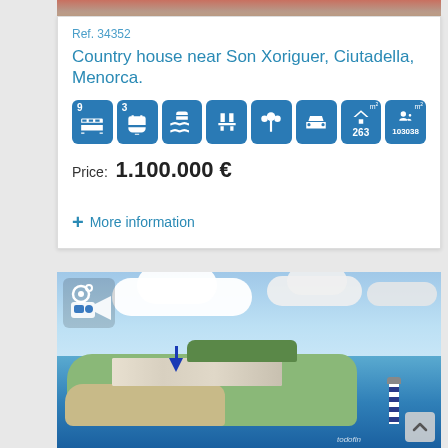[Figure (photo): Top portion of a property exterior photo (flowers, sand, landscape)]
Ref. 34352
Country house near Son Xoriguer, Ciutadella, Menorca.
[Figure (infographic): Property feature icons: 9 bedrooms, 3 bathrooms, pool, terrace/chairs, outdoor area, garage/car, 263 m2 built, 103038 m2 plot]
Price:  1.100.000 €
+ More information
[Figure (photo): Aerial photo of coastal peninsula near Son Xoriguer, Ciutadella, Menorca, with lighthouse and blue arrow marker. Video camera overlay icon in top-left.]